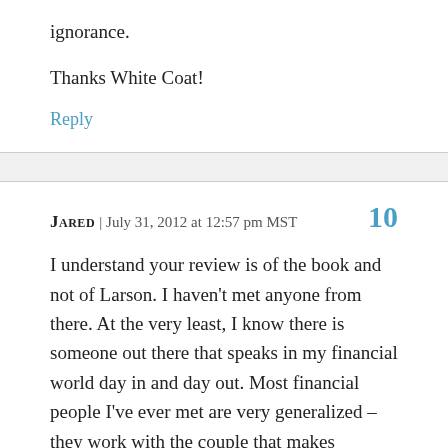ignorance.
Thanks White Coat!
Reply
JARED | July 31, 2012 at 12:57 pm MST  10
I understand your review is of the book and not of Larson. I haven't met anyone from there. At the very least, I know there is someone out there that speaks in my financial world day in and day out. Most financial people I've ever met are very generalized – they work with the couple that makes 50k/year and give them the same advice to